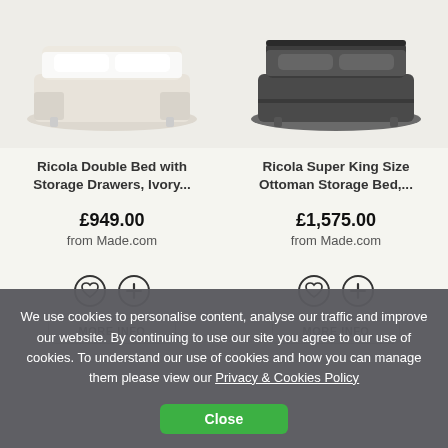[Figure (photo): Ricola Double Bed with Storage Drawers in ivory/cream fabric, angled product photo on light background]
Ricola Double Bed with Storage Drawers, Ivory...
£949.00
from Made.com
[Figure (photo): Ricola Super King Size Ottoman Storage Bed in dark charcoal/grey fabric, angled product photo on light background]
Ricola Super King Size Ottoman Storage Bed,...
£1,575.00
from Made.com
We use cookies to personalise content, analyse our traffic and improve our website. By continuing to use our site you agree to our use of cookies. To understand our use of cookies and how you can manage them please view our Privacy & Cookies Policy